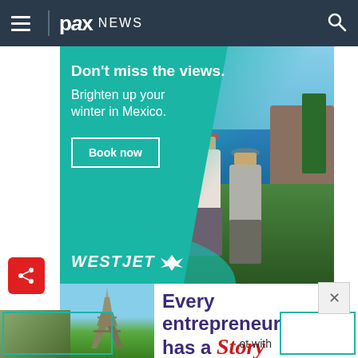pax NEWS
[Figure (photo): WestJet advertisement: 'Don't miss the views. Brighten up your winter in Mexico. Book now' with two people looking at a Mexican coastal landscape and the WestJet logo]
[Figure (photo): Second advertisement showing Eiffel Tower photo on left and text 'Every entrepreneur has a Story' on right, partially visible with close button]
ot with